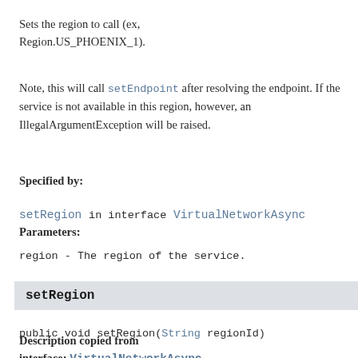Sets the region to call (ex, Region.US_PHOENIX_1).
Note, this will call setEndpoint after resolving the endpoint. If the service is not available in this region, however, an IllegalArgumentException will be raised.
Specified by:
setRegion in interface VirtualNetworkAsync
Parameters:
region - The region of the service.
setRegion
public void setRegion(String regionId)
Description copied from interface: VirtualNetworkAsync
Sets the region to call (ex, ‘us-phoenix-1’).
Note, this will first try to map the region ID to a